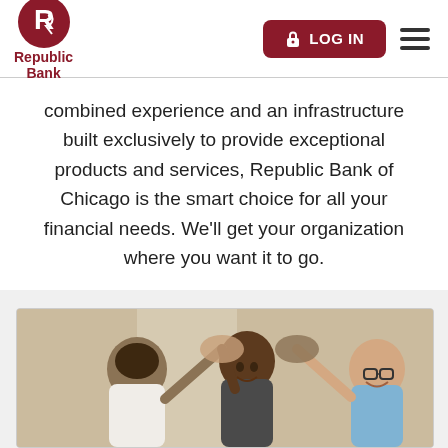[Figure (logo): Republic Bank logo with circular R emblem and text 'Republic Bank' in dark red]
combined experience and an infrastructure built exclusively to provide exceptional products and services, Republic Bank of Chicago is the smart choice for all your financial needs. We'll get your organization where you want it to go.
[Figure (photo): Three people smiling and giving a group high-five, celebrating together indoors]